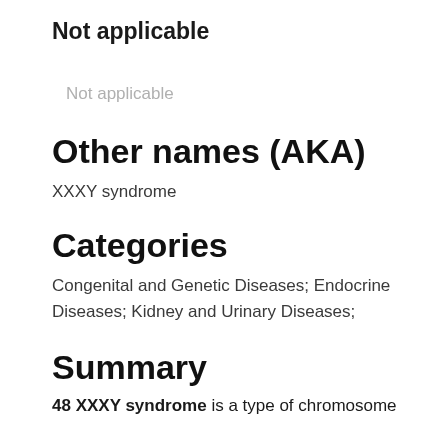Not applicable
Not applicable
Other names (AKA)
XXXY syndrome
Categories
Congenital and Genetic Diseases; Endocrine Diseases; Kidney and Urinary Diseases;
Summary
48 XXXY syndrome is a type of chromosome